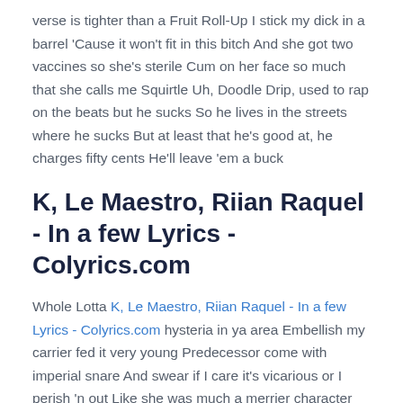verse is tighter than a Fruit Roll-Up I stick my dick in a barrel 'Cause it won't fit in this bitch And she got two vaccines so she's sterile Cum on her face so much that she calls me Squirtle Uh, Doodle Drip, used to rap on the beats but he sucks So he lives in the streets where he sucks But at least that he's good at, he charges fifty cents He'll leave 'em a buck
K, Le Maestro, Riian Raquel - In a few Lyrics - Colyrics.com
Whole Lotta K, Le Maestro, Riian Raquel - In a few Lyrics - Colyrics.com hysteria in ya area Embellish my carrier fed it very young Predecessor come with imperial snare And swear if I care it's vicarious or I perish 'n out Like she was much a merrier character Off of pleasant prevailer I got melin, they telling who hellish It sell if it's relevant Never